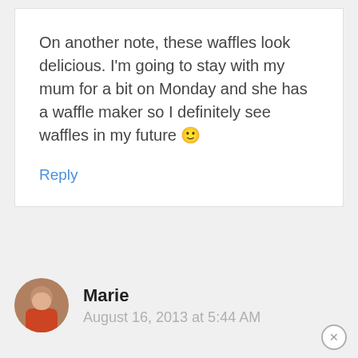On another note, these waffles look delicious. I'm going to stay with my mum for a bit on Monday and she has a waffle maker so I definitely see waffles in my future 🙂
Reply
Marie
August 16, 2013 at 5:44 AM